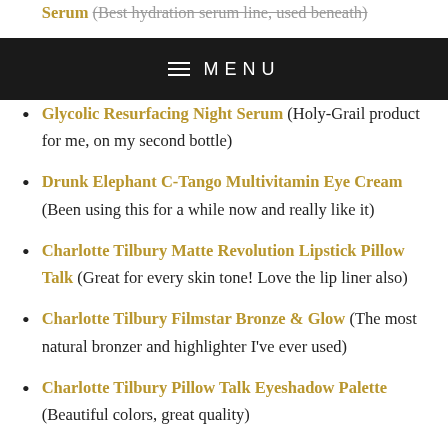Drunk Elephant B-Hydra Intensive Hydration Serum (Best hydration serum line, used beneath)
MENU
Glycolic Resurfacing Night Serum (Holy-Grail product for me, on my second bottle)
Drunk Elephant C-Tango Multivitamin Eye Cream (Been using this for a while now and really like it)
Charlotte Tilbury Matte Revolution Lipstick Pillow Talk (Great for every skin tone! Love the lip liner also)
Charlotte Tilbury Filmstar Bronze & Glow (The most natural bronzer and highlighter I've ever used)
Charlotte Tilbury Pillow Talk Eyeshadow Palette (Beautiful colors, great quality)
Lancome Hypnose Dream Instant Full Body...